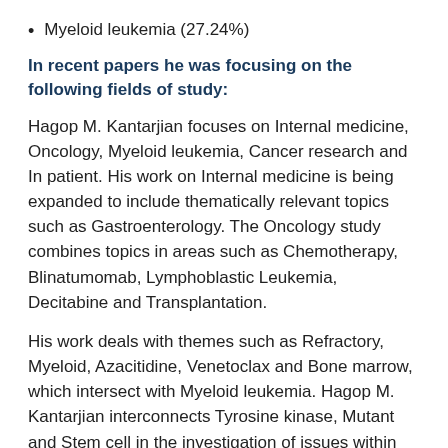Myeloid leukemia (27.24%)
In recent papers he was focusing on the following fields of study:
Hagop M. Kantarjian focuses on Internal medicine, Oncology, Myeloid leukemia, Cancer research and In patient. His work on Internal medicine is being expanded to include thematically relevant topics such as Gastroenterology. The Oncology study combines topics in areas such as Chemotherapy, Blinatumomab, Lymphoblastic Leukemia, Decitabine and Transplantation.
His work deals with themes such as Refractory, Myeloid, Azacitidine, Venetoclax and Bone marrow, which intersect with Myeloid leukemia. Hagop M. Kantarjian interconnects Tyrosine kinase, Mutant and Stem cell in the investigation of issues within Cancer research. The various